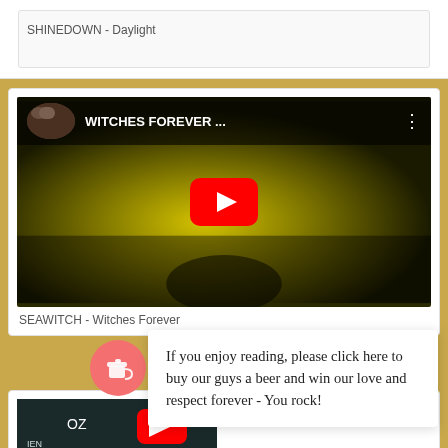SHINEDOWN - Daylight
[Figure (screenshot): YouTube video embed showing 'WITCHES FOREVER ...' with play button overlay on dark yellow-green background]
SEAWITCH - Witches Forever
If you enjoy reading, please click here to buy our guys a beer and win our love and respect forever - You rock!
[Figure (screenshot): Partial YouTube video embed at bottom with coffee/buy-me-a-beer button overlay]